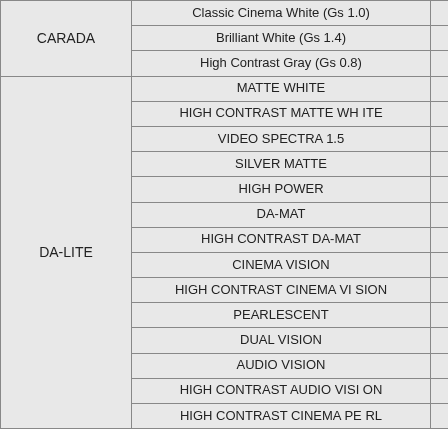| Brand | Product | # |
| --- | --- | --- |
| CARADA | Classic Cinema White (Gs 1.0) | 4 |
| CARADA | Brilliant White (Gs 1.4) | 5 |
| CARADA | High Contrast Gray (Gs 0.8) | 6 |
| DA-LITE | MATTE WHITE | 7 |
| DA-LITE | HIGH CONTRAST MATTE WHITE | 8 |
| DA-LITE | VIDEO SPECTRA 1.5 | 9 |
| DA-LITE | SILVER MATTE | 10 |
| DA-LITE | HIGH POWER | 11 |
| DA-LITE | DA-MAT | 12 |
| DA-LITE | HIGH CONTRAST DA-MAT | 13 |
| DA-LITE | CINEMA VISION | 14 |
| DA-LITE | HIGH CONTRAST CINEMA VISION | 15 |
| DA-LITE | PEARLESCENT | 16 |
| DA-LITE | DUAL VISION | 17 |
| DA-LITE | AUDIO VISION | 18 |
| DA-LITE | HIGH CONTRAST AUDIO VISION | 19 |
| DA-LITE | HIGH CONTRAST CINEMA PERL | 20 |